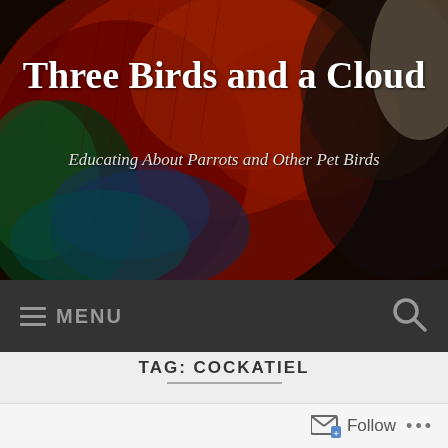[Figure (photo): Header image showing colorful parrots with red, blue, and green feathers on a dark background]
Three Birds and a Cloud
Educating About Parrots and Other Pet Birds
≡ MENU
TAG: COCKATIEL
Positive Vs. Negative
Follow ...